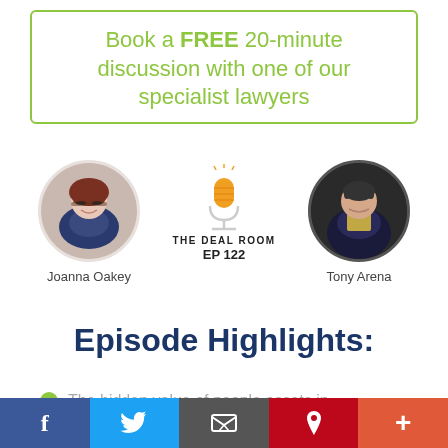Book a FREE 20-minute discussion with one of our specialist lawyers
[Figure (photo): Circular photo of Joanna Oakey with name label below, podcast logo 'The Deal Room EP 122' in center, circular photo of Tony Arena with name label below]
Episode Highlights:
The hidden value of people assets in...
[Figure (other): Social media share bar with Facebook, Twitter, Email, Pinterest, and plus buttons]